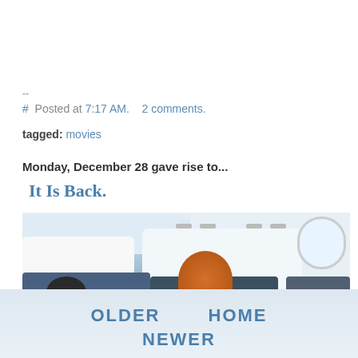--
#  Posted at 7:17 AM.   2 comments.
tagged: movies
Monday, December 28 gave rise to...
It Is Back.
[Figure (photo): Interior of an airplane cabin viewed from above, showing passengers seated in rows. A person with an orange knit hat/hair is visible in the center, another with dark hair on the left. White seat backs and a window visible.]
OLDER   HOME   NEWER